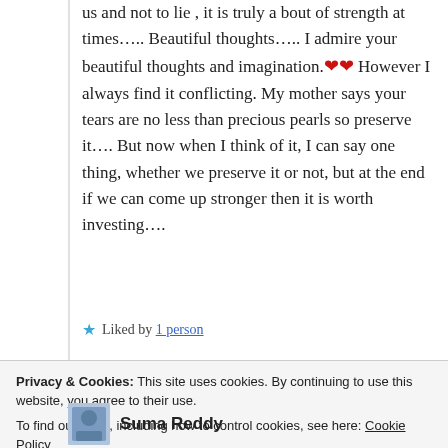us and not to lie , it is truly a bout of strength at times….. Beautiful thoughts….. I admire your beautiful thoughts and imagination.❤❤ However I always find it conflicting. My mother says your tears are no less than precious pearls so preserve it…. But now when I think of it, I can say one thing, whether we preserve it or not, but at the end if we can come up stronger then it is worth investing….
★ Liked by 1 person
Privacy & Cookies: This site uses cookies. By continuing to use this website, you agree to their use.
To find out more, including how to control cookies, see here: Cookie Policy
Close and accept
Suma Reddy